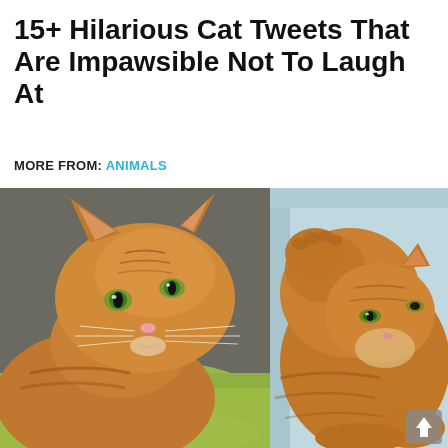15+ Hilarious Cat Tweets That Are Impawsible Not To Laugh At
MORE FROM: ANIMALS
[Figure (photo): Two side-by-side photos of orange tabby cats. Left photo: close-up of an orange tabby cat lying on a green surface, looking slightly sideways with wide eyes. Right photo: orange tabby cat curled up with its paw near its face, resting in a corner.]